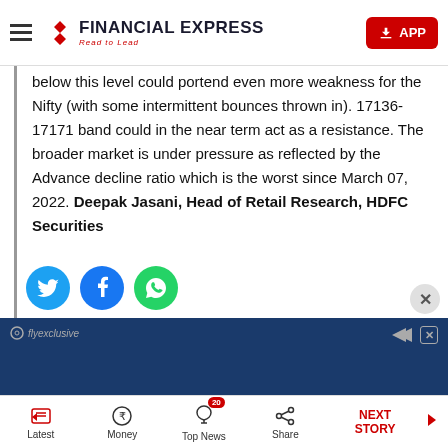Financial Express - Read to Lead
below this level could portend even more weakness for the Nifty (with some intermittent bounces thrown in). 17136-17171 band could in the near term act as a resistance. The broader market is under pressure as reflected by the Advance decline ratio which is the worst since March 07, 2022. Deepak Jasani, Head of Retail Research, HDFC Securities
[Figure (other): Social share icons: Twitter, Facebook, WhatsApp]
[Figure (other): Advertisement banner - flyexclusive on dark blue background]
Latest | Money | Top News (20) | Share | NEXT STORY